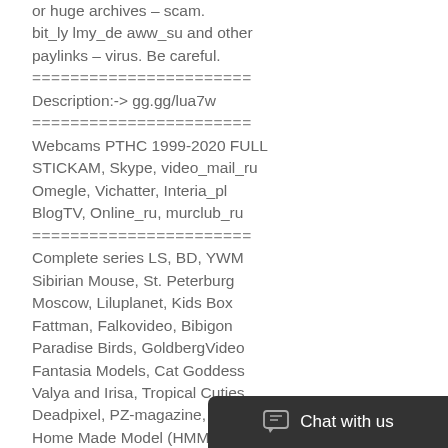or huge archives – scam.
bit_ly lmy_de aww_su and other paylinks – virus. Be careful.
=======================
Description:-> gg.gg/lua7w
=======================
Webcams PTHC 1999-2020 FULL
STICKAM, Skype, video_mail_ru
Omegle, Vichatter, Interia_pl
BlogTV, Online_ru, murclub_ru
=======================
Complete series LS, BD, YWM
Sibirian Mouse, St. Peterburg
Moscow, Liluplanet, Kids Box
Fattman, Falkovideo, Bibigon
Paradise Birds, GoldbergVideo
Fantasia Models, Cat Goddess
Valya and Irisa, Tropical Cuties
Deadpixel, PZ-magazine, BabyJ
Home Made Model (HMM)
=======================